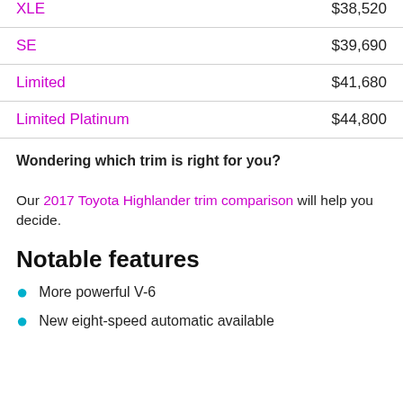| Trim | Price |
| --- | --- |
| XLE | $38,520 |
| SE | $39,690 |
| Limited | $41,680 |
| Limited Platinum | $44,800 |
Wondering which trim is right for you?
Our 2017 Toyota Highlander trim comparison will help you decide.
Notable features
More powerful V-6
New eight-speed automatic available